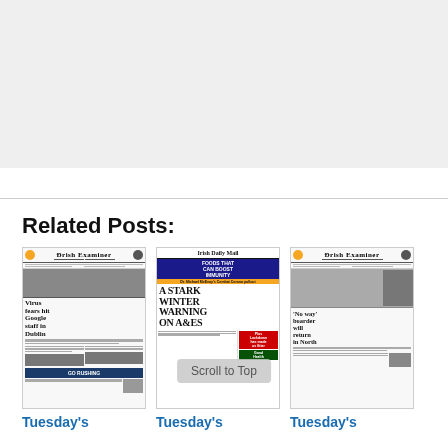[Figure (screenshot): Gray placeholder area at top of page]
Related Posts:
[Figure (screenshot): Irish Examiner newspaper front page thumbnail]
Tuesday's
[Figure (screenshot): Irish Daily Mail newspaper front page thumbnail showing headline 'A STARK WINTER WARNING ON A&ES']
Tuesday's
[Figure (screenshot): Irish Examiner newspaper front page thumbnail]
Tuesday's
Scroll to Top